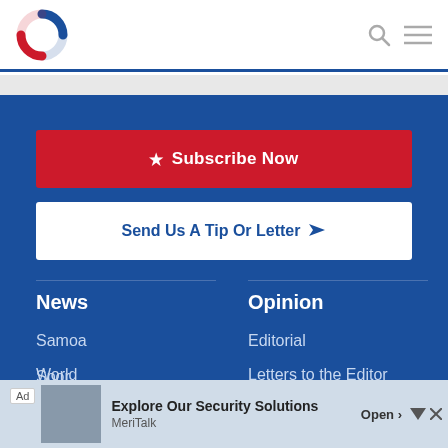[Figure (logo): Circular logo with blue top arc and red bottom arc, white center]
[Figure (other): Search icon (magnifying glass) and hamburger menu icon in gray]
[Figure (other): Subscribe Now button with star icon on red background]
[Figure (other): Send Us A Tip Or Letter button with paper plane icon on white background]
News
Samoa
World
Opinion
Editorial
Letters to the Editor
Spor...
Ad  Explore Our Security Solutions  MeriTalk  Open